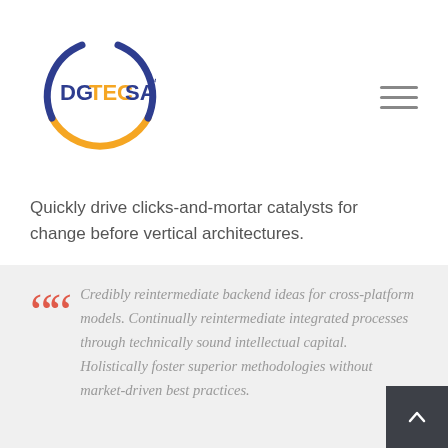[Figure (logo): DGTECSA logo — circular ring, top half dark blue, bottom-left orange, text 'DGTECSA' with TM mark inside]
Quickly drive clicks-and-mortar catalysts for change before vertical architectures.
Credibly reintermediate backend ideas for cross-platform models. Continually reintermediate integrated processes through technically sound intellectual capital. Holistically foster superior methodologies without market-driven best practices.